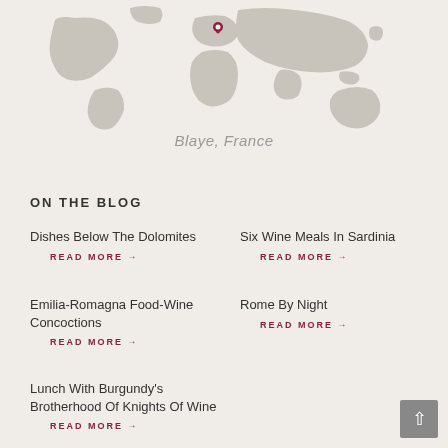[Figure (map): World map (grey continents on light background) with a red location pin marker over France (Blaye area)]
Blaye, France
ON THE BLOG
Dishes Below The Dolomites
READ MORE →
Six Wine Meals In Sardinia
READ MORE →
Emilia-Romagna Food-Wine Concoctions
READ MORE →
Rome By Night
READ MORE →
Lunch With Burgundy's Brotherhood Of Knights Of Wine
READ MORE →